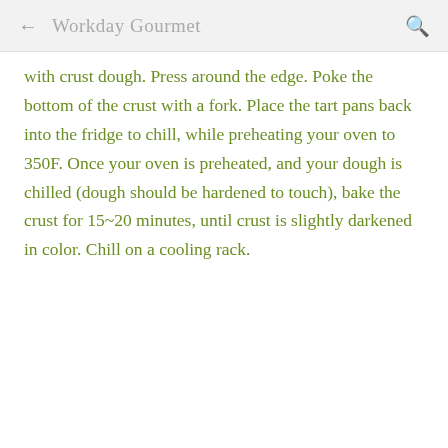← Workday Gourmet 🔍
with crust dough. Press around the edge. Poke the bottom of the crust with a fork. Place the tart pans back into the fridge to chill, while preheating your oven to 350F. Once your oven is preheated, and your dough is chilled (dough should be hardened to touch), bake the crust for 15~20 minutes, until crust is slightly darkened in color. Chill on a cooling rack.